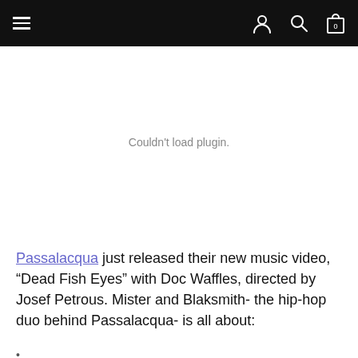Navigation bar with hamburger menu, user icon, search icon, and cart icon (0 items)
[Figure (screenshot): Plugin failed to load area showing 'Couldn't load plugin.' message in gray text on white background]
Passalacqua just released their new music video, “Dead Fish Eyes” with Doc Waffles, directed by Josef Petrous. Mister and Blaksmith- the hip-hop duo behind Passalacqua- is all about: